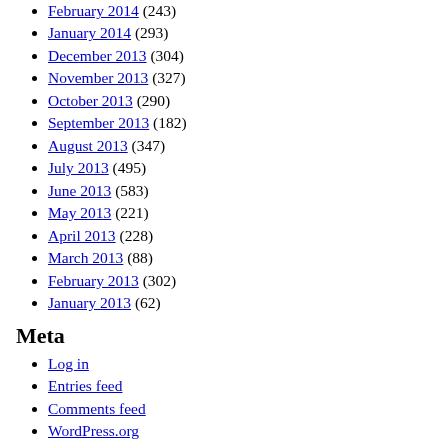February 2014 (243)
January 2014 (293)
December 2013 (304)
November 2013 (327)
October 2013 (290)
September 2013 (182)
August 2013 (347)
July 2013 (495)
June 2013 (583)
May 2013 (221)
April 2013 (228)
March 2013 (88)
February 2013 (302)
January 2013 (62)
Meta
Log in
Entries feed
Comments feed
WordPress.org
Consumer Notice:
This is an affiliate Ad supported site. That means if you buy somethi…